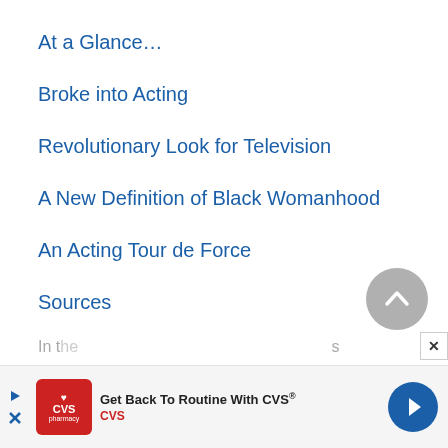At a Glance…
Broke into Acting
Revolutionary Look for Television
A New Definition of Black Womanhood
An Acting Tour de Force
Sources
In t…s
[Figure (other): Advertisement banner: CVS pharmacy - Get Back To Routine With CVS®]